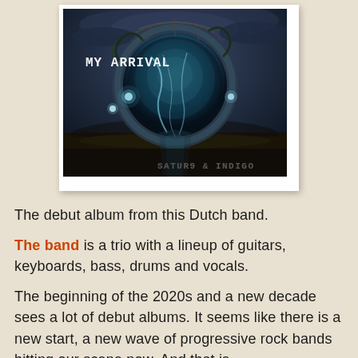[Figure (illustration): Album cover for 'My Arrival' by Satur9 & Indigo. Dark surreal image of a circular portal/ring structure overgrown with vines and wires, glowing lights, dark cloudy sky, pathway leading through the ring. Text 'MY ARRIVAL' in upper left and 'SATUR9 & INDIGO' in lower right. Presented as a polaroid-style photo.]
The debut album from this Dutch band.
The band is a trio with a lineup of guitars, keyboards, bass, drums and vocals.
The beginning of the 2020s and a new decade sees a lot of debut albums. It seems like there is a new start, a new wave of progressive rock bands hitting our scene now. And that is